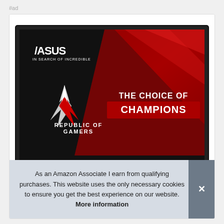#ad
[Figure (screenshot): ASUS Republic of Gamers advertisement showing a gaming monitor with a red and black diagonal design. Text on screen reads 'THE CHOICE OF CHAMPIONS' and 'REPUBLIC OF GAMERS' with the ASUS and ROG logos.]
As an Amazon Associate I earn from qualifying purchases. This website uses the only necessary cookies to ensure you get the best experience on our website. More information